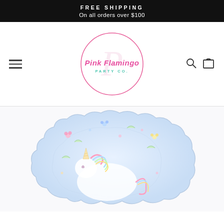FREE SHIPPING
On all orders over $100
[Figure (logo): Pink Flamingo Party Co circular logo with pink script text and teal subtitle, pink circle border]
[Figure (photo): A unicorn-shaped pale blue cloud paper plate with colorful floral and unicorn illustration, viewed from slightly above]